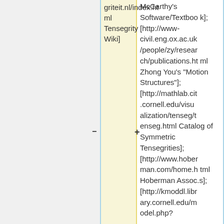griteit.nl/index.html Tensegrity Wiki]
McCarthy's Software/Textbook]; [http://www-civil.eng.ox.ac.uk/people/zy/research/publications.html Zhong You's "Motion Structures"]; [http://mathlab.cit.cornell.edu/visualization/tenseg/tenseg.html Catalog of Symmetric Tensegrities]; [http://www.hoberman.com/home.html Hoberman Assoc.s]; [http://kmoddl.library.cornell.edu/model.php?